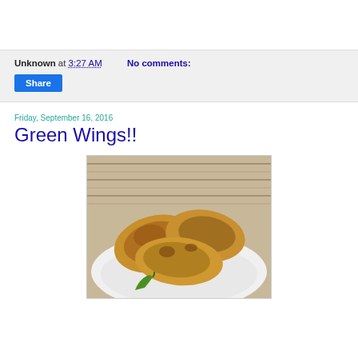Unknown at 3:27 AM    No comments:
Share
Friday, September 16, 2016
Green Wings!!
[Figure (photo): Photo of fried green-spiced chicken wings on a white plate with a green chili pepper, placed on a woven mat background.]